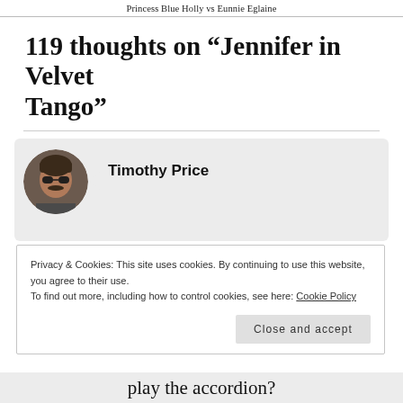Princess Blue Holly vs Eunnie Eglaine
119 thoughts on “Jennifer in Velvet Tango”
[Figure (photo): Circular avatar photo of Timothy Price, a man wearing sunglasses, with a comment box on a gray background.]
Timothy Price
Privacy & Cookies: This site uses cookies. By continuing to use this website, you agree to their use.
To find out more, including how to control cookies, see here: Cookie Policy
Close and accept
play the accordion?